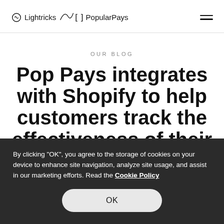Lightricks [ ] PopularPays
OUR BLOG
Pop Pays integrates with Shopify to help customers track the effectiveness of their
By clicking "OK", you agree to the storage of cookies on your device to enhance site navigation, analyze site usage, and assist in our marketing efforts. Read the Cookie Policy